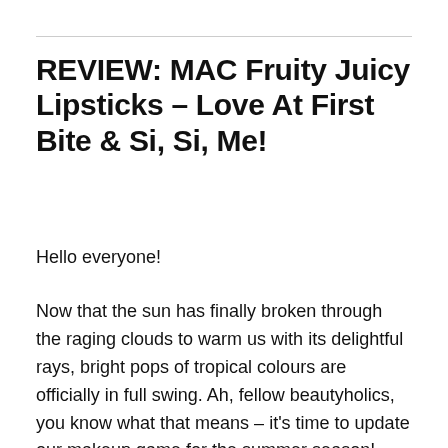REVIEW: MAC Fruity Juicy Lipsticks – Love At First Bite & Si, Si, Me!
Hello everyone!
Now that the sun has finally broken through the raging clouds to warm us with its delightful rays, bright pops of tropical colours are officially in full swing. Ah, fellow beautyholics, you know what that means – it's time to update our makeup game for the summer season! Because for makeup fiends like us, nothing says summer like a radiant swoosh of blush and swathe of highlight on the cheekbones to mimic that healthy flush, or a dusting of